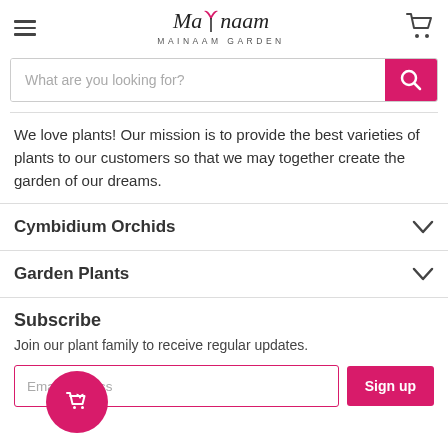Mainaam Garden — navigation header with hamburger menu, logo, and cart icon
What are you looking for?
We love plants! Our mission is to provide the best varieties of plants to our customers so that we may together create the garden of our dreams.
Cymbidium Orchids
Garden Plants
Subscribe
Join our plant family to receive regular updates.
Email address
Sign up